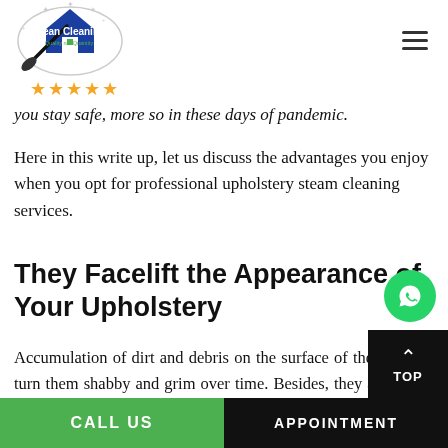Klean Cleaning — Quality not Quantity — ★★★★★
you stay safe, more so in these days of pandemic.
Here in this write up, let us discuss the advantages you enjoy when you opt for professional upholstery steam cleaning services.
They Facelift the Appearance of Your Upholstery
Accumulation of dirt and debris on the surface of the upholstery turn them shabby and grim over time. Besides, they also stick to the stubborn stains and when that happens, they leave long lasting and at times permanent marks on the upholst…
CALL US   APPOINTMENT